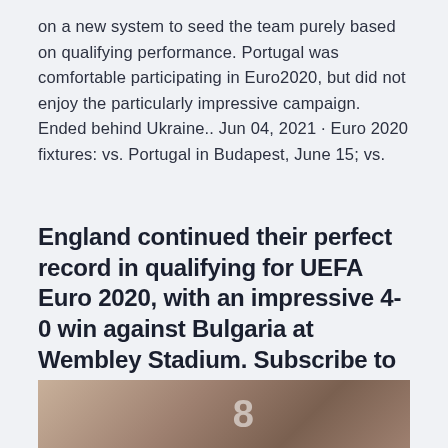on a new system to seed the team purely based on qualifying performance. Portugal was comfortable participating in Euro2020, but did not enjoy the particularly impressive campaign. Ended behind Ukraine.. Jun 04, 2021 · Euro 2020 fixtures: vs. Portugal in Budapest, June 15; vs.
England continued their perfect record in qualifying for UEFA Euro 2020, with an impressive 4-0 win against Bulgaria at Wembley Stadium. Subscribe to England
[Figure (photo): Partial photo showing what appears to be a person's arm/wrist with a black wristband, against a dark background]